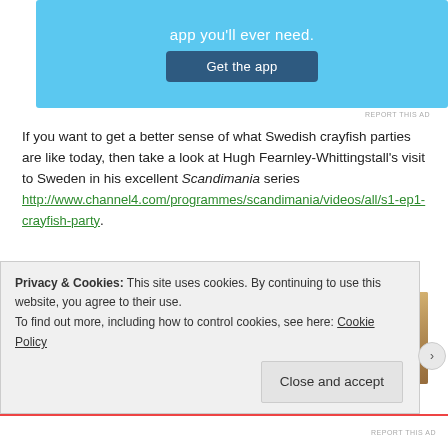[Figure (screenshot): Light blue advertisement banner with 'app you'll ever need.' text and a dark blue 'Get the app' button]
REPORT THIS AD
If you want to get a better sense of what Swedish crayfish parties are like today, then take a look at Hugh Fearnley-Whittingstall’s visit to Sweden in his excellent Scandimania series http://www.channel4.com/programmes/scandimania/videos/all/s1-ep1-crayfish-party.
3) Julaftonen, 1904 – 1905 (“Christmas Eve”)
[Figure (photo): Partial view of a painting showing a woman in traditional dress/wreath on the left and architectural/interior scene]
Privacy & Cookies: This site uses cookies. By continuing to use this website, you agree to their use.
To find out more, including how to control cookies, see here: Cookie Policy
Close and accept
REPORT THIS AD